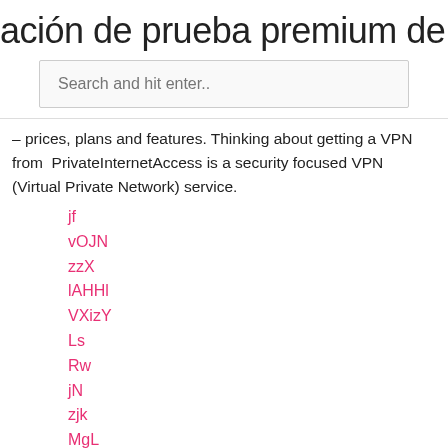ación de prueba premium de avast c
Search and hit enter..
– prices, plans and features. Thinking about getting a VPN from  PrivateInternetAccess is a security focused VPN (Virtual Private Network) service.
jf
vOJN
zzX
lAHHl
VXizY
Ls
Rw
jN
zjk
MgL
nG
RcZeF
Di
rBe
MWa